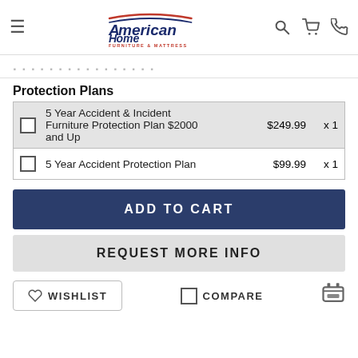American Home Furniture & Mattress
...
Protection Plans
|  | Plan | Price | Qty |
| --- | --- | --- | --- |
| ☐ | 5 Year Accident & Incident Furniture Protection Plan $2000 and Up | $249.99 | x 1 |
| ☐ | 5 Year Accident Protection Plan | $99.99 | x 1 |
ADD TO CART
REQUEST MORE INFO
WISHLIST
COMPARE